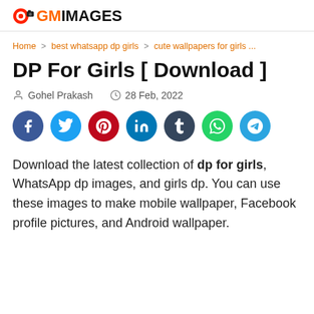GMIMAGES
Home > best whatsapp dp girls > cute wallpapers for girls ...
DP For Girls [ Download ]
Gohel Prakash   28 Feb, 2022
[Figure (infographic): Social sharing buttons: Facebook, Twitter, Pinterest, LinkedIn, Tumblr, WhatsApp, Telegram]
Download the latest collection of dp for girls, WhatsApp dp images, and girls dp. You can use these images to make mobile wallpaper, Facebook profile pictures, and Android wallpaper.